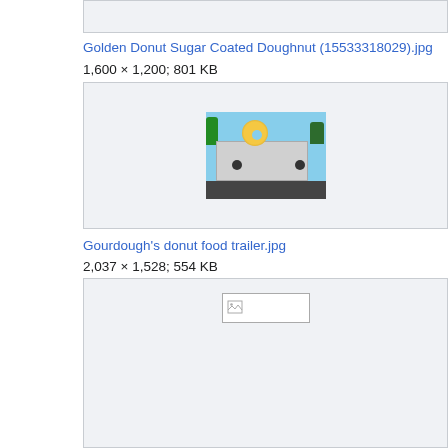[Figure (other): Cropped top of previous image box, light gray background]
Golden Donut Sugar Coated Doughnut (15533318029).jpg
1,600 × 1,200; 801 KB
[Figure (photo): Photo of a food trailer with a large golden donut on top, parked in a lot with trees and blue sky]
Gourdough's donut food trailer.jpg
2,037 × 1,528; 554 KB
[Figure (photo): Image box with broken/missing image icon]